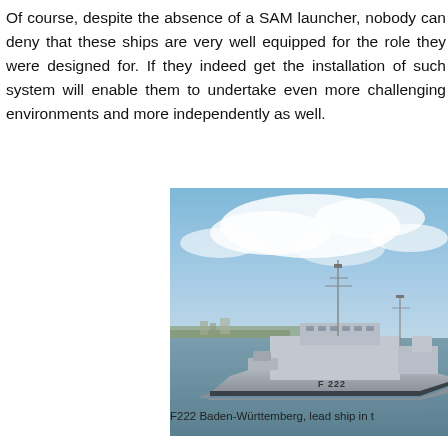Of course, despite the absence of a SAM launcher, nobody can deny that these ships are very well equipped for the role they were designed for. If they indeed get the installation of such system will enable them to undertake even more challenging environments and more independently as well.
[Figure (photo): Photograph of F222 Baden-Württemberg, a German Navy frigate (lead ship in the class), sailing on water with a partly cloudy sky and coastline visible in the background.]
F222 Baden-Württemberg, lead ship in t